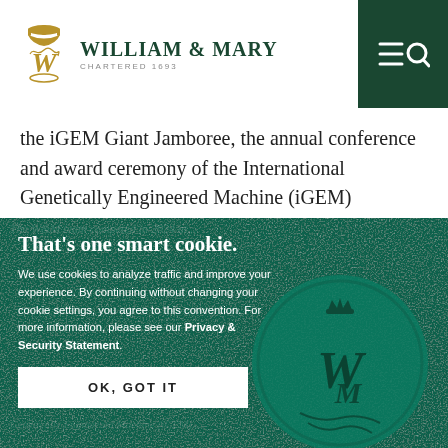William & Mary — Chartered 1693
the iGEM Giant Jamboree, the annual conference and award ceremony of the International Genetically Engineered Machine (iGEM) Foundation.
That's one smart cookie.
We use cookies to analyze traffic and improve your experience. By continuing without changing your cookie settings, you agree to this convention. For more information, please see our Privacy & Security Statement.
OK, GOT IT